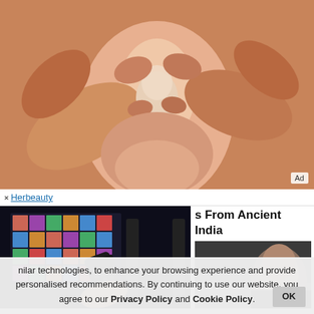[Figure (photo): Close-up photo of hands with oily skin pressing on a toe/finger joint, warm orange-brown tones]
Ad
× Herbeauty
s From Ancient India
[Figure (photo): Person holding a TV remote control with a television showing a colorful grid in the background, dark room setting]
[Figure (photo): Partial thumbnail of a person's face]
nilar technologies, to enhance your browsing experience and provide personalised recommendations. By continuing to use our website, you agree to our Privacy Policy and Cookie Policy.